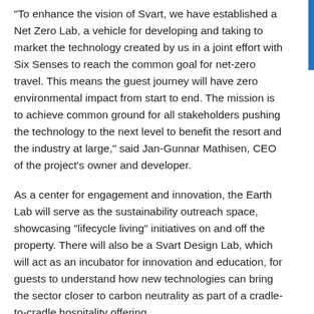“To enhance the vision of Svart, we have established a Net Zero Lab, a vehicle for developing and taking to market the technology created by us in a joint effort with Six Senses to reach the common goal for net-zero travel. This means the guest journey will have zero environmental impact from start to end. The mission is to achieve common ground for all stakeholders pushing the technology to the next level to benefit the resort and the industry at large,” said Jan-Gunnar Mathisen, CEO of the project’s owner and developer.
As a center for engagement and innovation, the Earth Lab will serve as the sustainability outreach space, showcasing “lifecycle living” initiatives on and off the property. There will also be a Svart Design Lab, which will act as an incubator for innovation and education, for guests to understand how new technologies can bring the sector closer to carbon neutrality as part of a cradle-to-cradle hospitality offering.
Bearber Bearab Band...